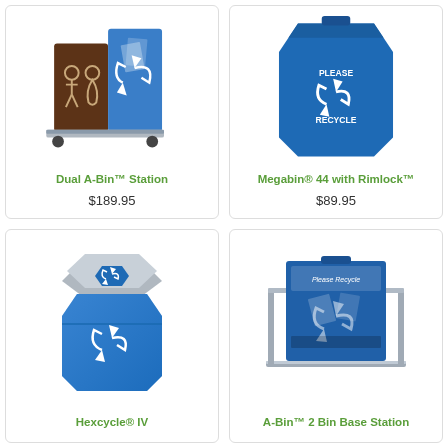[Figure (photo): Dual A-Bin station with brown and blue side-by-side recycling/trash containers on a wheeled base with recycle symbols]
Dual A-Bin™ Station
$189.95
[Figure (photo): Megabin 44 with Rimlock - large blue hexagonal recycling bin with PLEASE RECYCLE text and recycling symbol]
Megabin® 44 with Rimlock™
$89.95
[Figure (photo): Hexcycle IV - blue hexagonal recycling bin with silver top lid showing blue recycling symbol]
Hexcycle® IV
[Figure (photo): A-Bin 2 Bin Base Station - blue rectangular recycling bin on a metal stand frame with Please Recycle label and recycle graphic]
A-Bin™ 2 Bin Base Station